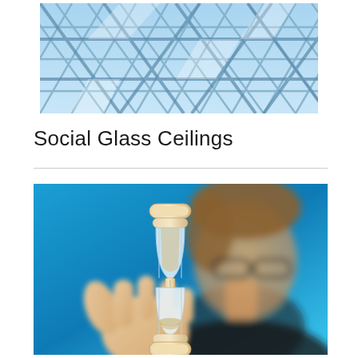[Figure (photo): Photograph of a glass ceiling with geometric steel lattice framework and blue sky visible through the glass panels]
Social Glass Ceilings
[Figure (photo): Photograph of a young man with glasses holding up a small hourglass against a blue background, slightly out of focus]